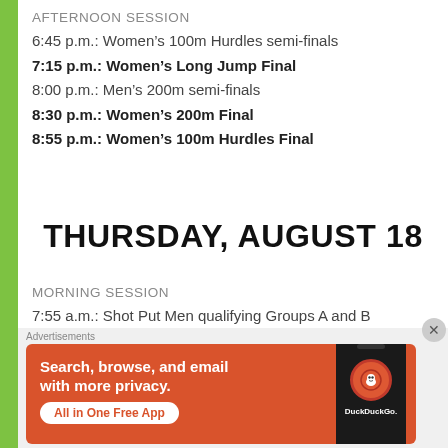AFTERNOON SESSION
6:45 p.m.: Women’s 100m Hurdles semi-finals
7:15 p.m.: Women’s Long Jump Final
8:00 p.m.: Men’s 200m semi-finals
8:30 p.m.: Women’s 200m Final
8:55 p.m.: Women’s 100m Hurdles Final
THURSDAY, AUGUST 18
MORNING SESSION
7:55 a.m.: Shot Put Men qualifying Groups A and B
[Figure (illustration): DuckDuckGo advertisement banner: orange/red background with text 'Search, browse, and email with more privacy. All in One Free App' and a phone graphic with DuckDuckGo logo]